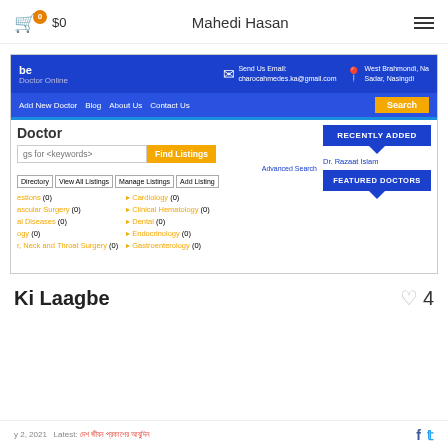0  $0  Mahedi Hasan
[Figure (screenshot): Screenshot of a doctor listing website with blue navigation bar showing 'Add New Doctor', 'Blog', 'About Us', 'Contact Us' links and a yellow Search button, followed by a 'Doctor' heading section with a search input, 'Find Listings' button, directory buttons (Directory, View All Listings, Manage Listings, Add Listing), category links in orange (Cardiology, Clinical Hematology, Dental, Endocrinology, Gastroenterology) and a right sidebar with 'RECENTLY ADDED' and 'FEATURED DOCTORS' buttons]
Ki Laagbe
y 2, 2021  Latest:  [Bengali text]